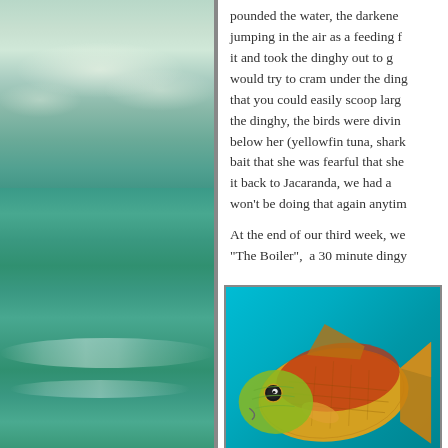[Figure (photo): Ocean scene with teal/green water, gentle waves, and cloudy sky with greenish tint]
pounded the water, the darkene jumping in the air as a feeding f it and took the dinghy out to g would try to cram under the din that you could easily scoop larg the dinghy, the birds were divin below her (yellowfin tuna, shark bait that she was fearful that sh it back to Jacaranda, we had a won't be doing that again anytin
At the end of our third week, we "The Boiler",  a 30 minute dingy
[Figure (photo): Close-up of a colorful tropical fish with red, orange, yellow, and green scales against a blue/teal background]